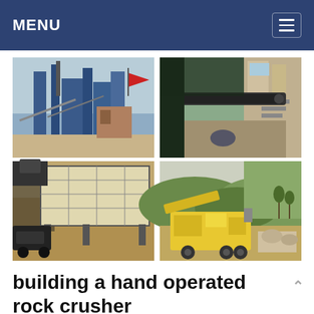MENU
[Figure (photo): Four-panel photo grid showing industrial and mining equipment: top-left shows a large industrial plant with blue structures and a red flag; top-right shows a conveyor belt system inside a facility; bottom-left shows a heavy vibrating screen or feeder machine on a job site; bottom-right shows a yellow mobile rock crusher in a mountainous landscape.]
building a hand operated rock crusher